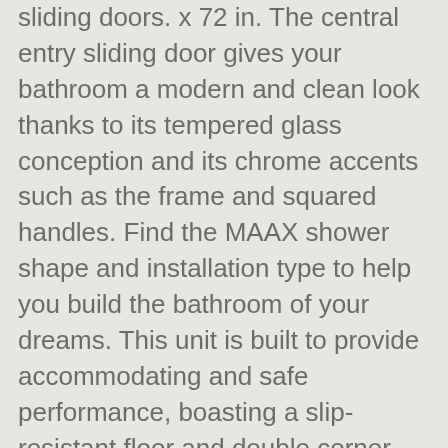sliding doors. x 72 in. The central entry sliding door gives your bathroom a modern and clean look thanks to its tempered glass conception and its chrome accents such as the frame and squared handles. Find the MAAX shower shape and installation type to help you build the bathroom of your dreams. This unit is built to provide accommodating and safe performance, boasting a slip-resistant floor and double corner … View All. Make your shower room a modern and comfy space thanks to this white and square shower base. Compare; Multiple Sizes. Search by shower … Semi-Frameless Clear Glass Sliding Shower … x 72 in. x 32 in. Subject to change without prior notice. x 32 in. You have searched for 34x34 shower base and this page displays the closest product matches we have for 34x34 shower … Designed to last, the shower … Corner Drain Corner Shower Kit in White and Satin Nickel Hardware Add some glam to your life with the luxurious Add some glam to